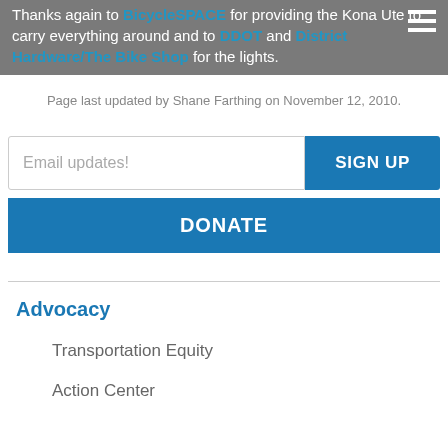Thanks again to BicycleSPACE for providing the Kona Ute to carry everything around and to DDOT and District Hardware/The Bike Shop for the lights.
Page last updated by Shane Farthing on November 12, 2010.
Email updates!
SIGN UP
DONATE
Advocacy
Transportation Equity
Action Center